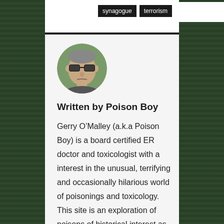synagogue
terrorism
[Figure (photo): Circular avatar photo of a man wearing sunglasses, outdoors with greenery in background]
Written by Poison Boy
Gerry O’Malley (a.k.a Poison Boy) is a board certified ER doctor and toxicologist with a interest in the unusual, terrifying and occasionally hilarious world of poisonings and toxicology. This site is an exploration of poisons of historical interest as well as in current events and pop